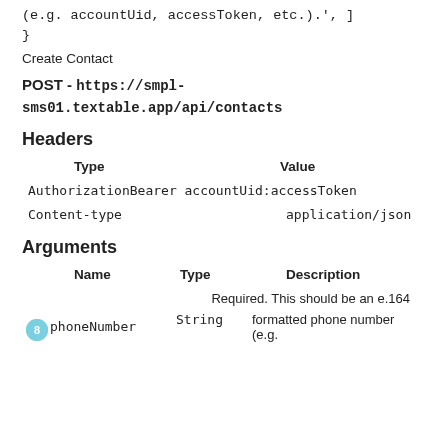(e.g. accountUid, accessToken, etc.).',
]
}
Create Contact
POST - https://smpl-sms01.textable.app/api/contacts
Headers
| Type | Value |
| --- | --- |
| AuthorizationBearer | accountUid:accessToken |
| Content-type | application/json |
Arguments
| Name | Type | Description |
| --- | --- | --- |
| phoneNumber | String | Required. This should be an e.164 formatted phone number (e.g. |